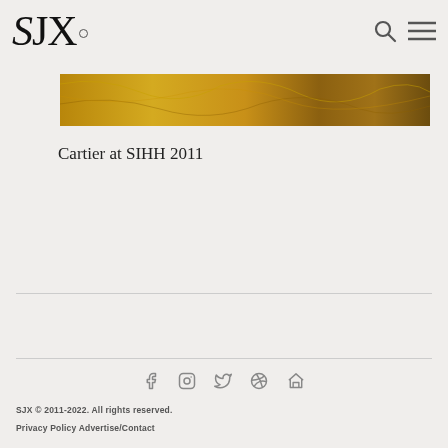SJX
[Figure (screenshot): SJX at PuristSPro.com banner with golden/brown decorative watch background]
Cartier at SIHH 2011
[Figure (infographic): Social media icons: Facebook, Instagram, Twitter, Pinterest, RSS]
SJX © 2011-2022. All rights reserved. Privacy Policy Advertise/Contact